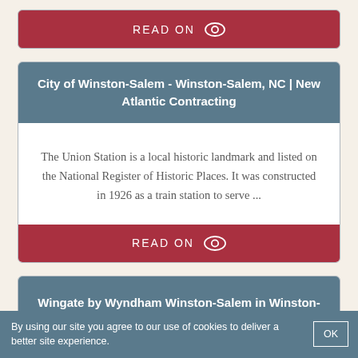[Figure (screenshot): Top partial 'READ ON' button from a previous card, shown cropped at top of page]
City of Winston-Salem - Winston-Salem, NC | New Atlantic Contracting
The Union Station is a local historic landmark and listed on the National Register of Historic Places. It was constructed in 1926 as a train station to serve ...
READ ON
Wingate by Wyndham Winston-Salem in Winston-Salem - Hotel ...
By using our site you agree to our use of cookies to deliver a better site experience.